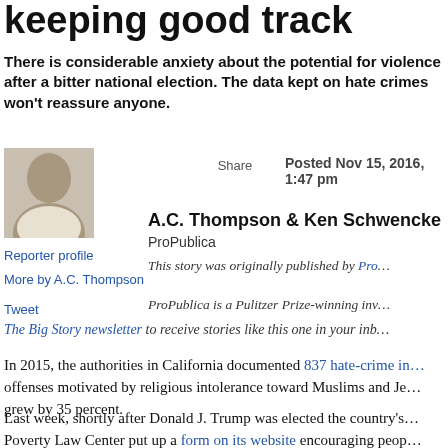keeping good track
There is considerable anxiety about the potential for violence after a bitter national election. The data kept on hate crimes won't reassure anyone.
Share
Posted Nov 15, 2016, 1:47 pm
[Figure (photo): Headshot of reporter A.C. Thompson]
Reporter profile
More by A.C. Thompson
Tweet
A.C. Thompson & Ken Schwencke
ProPublica
This story was originally published by Pro…
ProPublica is a Pulitzer Prize-winning inv…
The Big Story newsletter to receive stories like this one in your inb…
In 2015, the authorities in California documented 837 hate-crime incidents — offenses motivated by religious intolerance toward Muslims and Je… grew by 35 percent.
Last week, shortly after Donald J. Trump was elected the country's… Poverty Law Center put up a form on its website encouraging people… hate crimes. By the next day, they'd received about 250 reports – m…